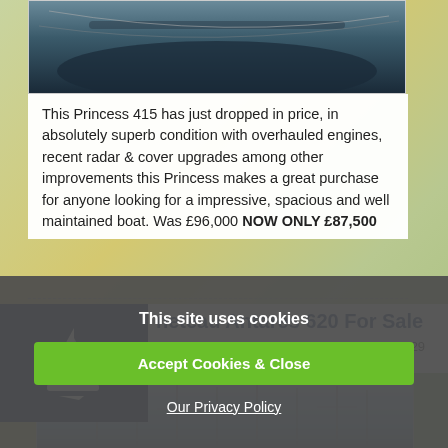[Figure (photo): Top portion of a boat/yacht hull visible from above, dark colors, water visible, partial view at top of page]
This Princess 415 has just dropped in price, in absolutely superb condition with overhauled engines, recent radar & cover upgrades among other improvements this Princess makes a great purchase for anyone looking for a impressive, spacious and well maintained boat. Was £96,000 NOW ONLY £87,500
Beneteau Antares 620 For Sale
Posted in: Swansea | By: swansea | Posted On: 29 Apr 2013
[Figure (photo): Marina with sailboat masts against a light blue sky, partial view]
This site uses cookies
Accept Cookies & Close
Our Privacy Policy